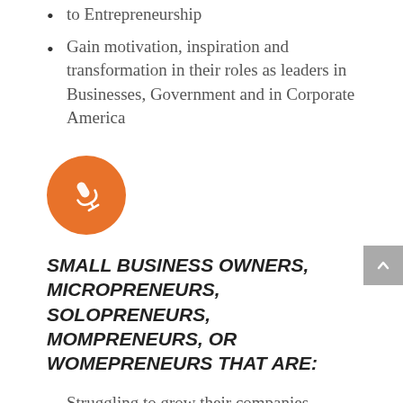to Entrepreneurship
Gain motivation, inspiration and transformation in their roles as leaders in Businesses, Government and in Corporate America
[Figure (illustration): Orange circle icon with a microphone/pen symbol in white]
SMALL BUSINESS OWNERS, MICROPRENEURS, SOLOPRENEURS, MOMPRENEURS, OR WOMEPRENEURS THAT ARE:
Struggling to grow their companies
Seeking to diversify their revenue to